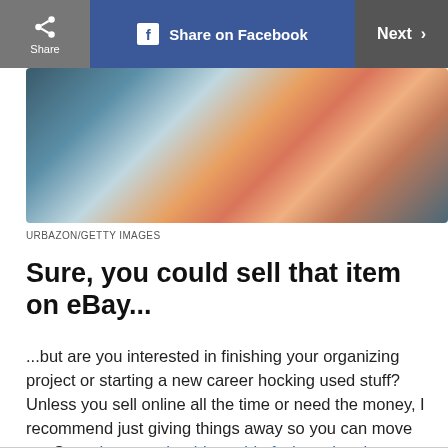[Figure (screenshot): Top navigation bar with Share button, Share on Facebook button, and Next arrow button]
[Figure (photo): Photo of colorful folded clothes and garments piled together, credited to URBAZON/GETTY IMAGES]
URBAZON/GETTY IMAGES
Sure, you could sell that item on eBay...
...but are you interested in finishing your organizing project or starting a new career hocking used stuff? Unless you sell online all the time or need the money, I recommend just giving things away so you can move on. See what you should get rid of when cleaning your closet.